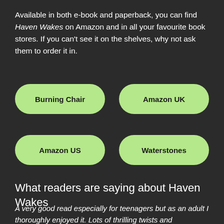Available in both e-book and paperback, you can find Haven Wakes on Amazon and in all your favourite book stores. If you can't see it on the shelves, why not ask them to order it in.
Burning Chair
Amazon UK
Amazon US
Waterstones
What readers are saying about Haven Wakes
A very good read especially for teenagers but as an adult I thoroughly enjoyed it. Lots of thrilling twists and turns and a storyline that kept me on the edge of my seat.